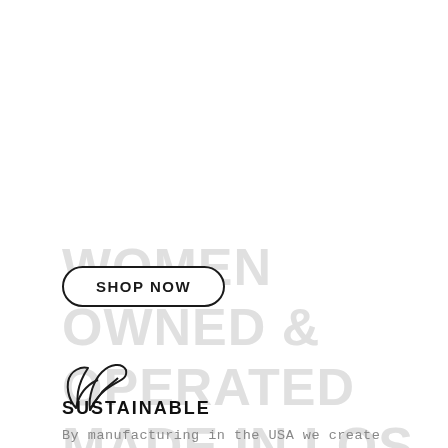[Figure (illustration): Large light grey watermark text reading 'WOMEN OWNED & OPERATED MADE IN LOS ANGELES, CA. USA.' in uppercase bold letters behind a Shop Now button]
SHOP NOW
[Figure (illustration): Two overlapping leaf/sprout outline icons in black stroke, representing sustainability]
SUSTAINABLE
By manufacturing in the USA we create